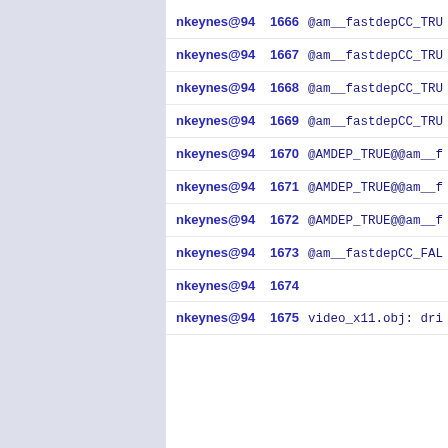nkeynes@94  1666  @am__fastdepCC_TRU
nkeynes@94  1667  @am__fastdepCC_TRU
nkeynes@94  1668  @am__fastdepCC_TRU
nkeynes@94  1669  @am__fastdepCC_TRU
nkeynes@94  1670  @AMDEP_TRUE@@am__f
nkeynes@94  1671  @AMDEP_TRUE@@am__f
nkeynes@94  1672  @AMDEP_TRUE@@am__f
nkeynes@94  1673  @am__fastdepCC_FAL
nkeynes@94  1674
nkeynes@94  1675  video_x11.obj: dri